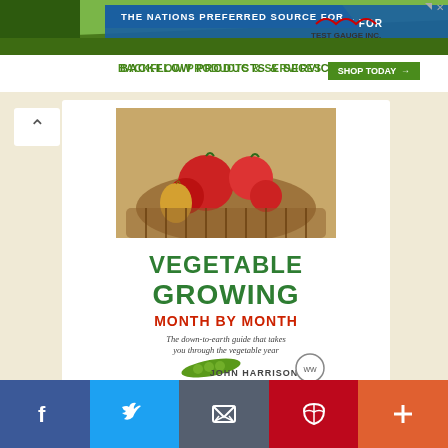[Figure (screenshot): Advertisement banner for Test Gauge Inc. showing backflow products and services with a green background and shop today button]
[Figure (photo): Book cover of Vegetable Growing Month by Month by John Harrison showing vegetables in a basket]
My First Book
My first book, Vegetable Growing Month by Month, is firmly aimed at those starting out but there are a few tips in there that help the experienced grower. The second, The Essential Allotment Guide, is really for those who want to get or who have an allotment.
The third book, Vegetable, Fruit & Herb Growing in